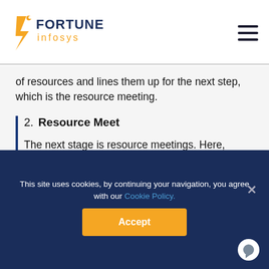Fortune Infosys
of resources and lines them up for the next step, which is the resource meeting.
2. Resource Meet
The next stage is resource meetings. Here, companies meet the prospective team. They are allowed to interview them and interact with them, either in Fortune's premises or at their own site, to identify the best-suiting people and then inform Fortune about those shortlisted for the zero-risk
This site uses cookies, by continuing your navigation, you agree with our Cookie Policy.